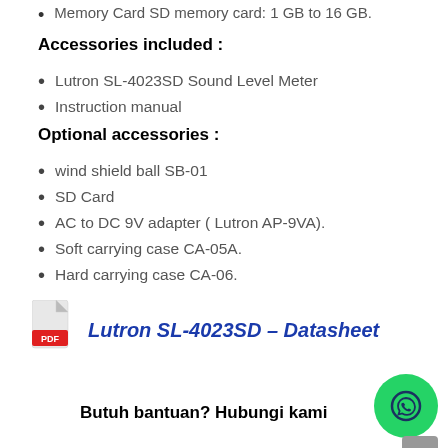Memory Card SD memory card: 1 GB to 16 GB.
Accessories included :
Lutron SL-4023SD Sound Level Meter
Instruction manual
Optional accessories :
wind shield ball SB-01
SD Card
AC to DC 9V adapter ( Lutron AP-9VA).
Soft carrying case CA-05A.
Hard carrying case CA-06.
[Figure (other): PDF file icon with red PDF label]
Lutron SL-4023SD – Datasheet
Butuh bantuan? Hubungi kami